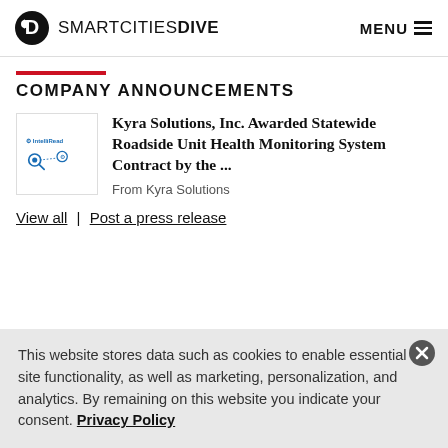SMARTCITIES DIVE — MENU
COMPANY ANNOUNCEMENTS
Kyra Solutions, Inc. Awarded Statewide Roadside Unit Health Monitoring System Contract by the ...
From Kyra Solutions
View all | Post a press release
This website stores data such as cookies to enable essential site functionality, as well as marketing, personalization, and analytics. By remaining on this website you indicate your consent. Privacy Policy